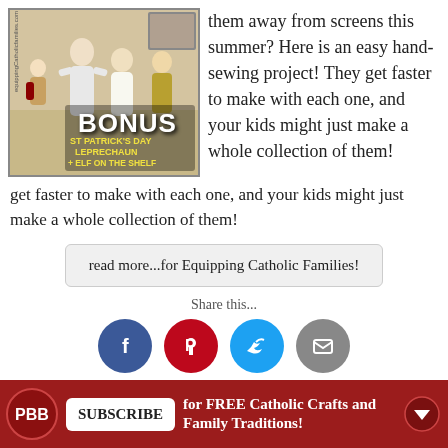[Figure (photo): Photo of handmade fabric Saint dolls with text overlay reading BONUS ST PATRICK'S DAY LEPRECHAUN + ELF ON THE SHELF]
them away from screens this summer? Here is an easy hand-sewing project! They get faster to make with each one, and your kids might just make a whole collection of them!
read more...for Equipping Catholic Families!
Share this...
[Figure (infographic): Social sharing icons: Facebook (blue circle with f), Pinterest (red circle with P), Twitter (blue circle with bird), Email (grey circle with envelope)]
SUBSCRIBE for FREE Catholic Crafts and Family Traditions!